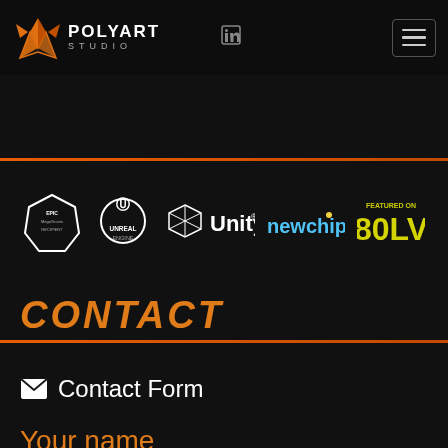[Figure (logo): Polyart Studio logo with fox icon and text POLYART STUDIO in white/orange on dark navbar]
[Figure (logo): Partner logos row: Epic MegaGrants badge, Unreal Engine logo, Unity logo, Newchip logo, Featured on 80LV badge]
CONTACT
Contact Form
Your name